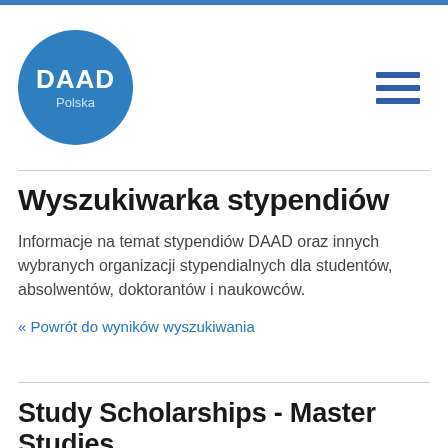[Figure (logo): DAAD Polska blue circular logo]
Wyszukiwarka stypendiów
Informacje na temat stypendiów DAAD oraz innych wybranych organizacji stypendialnych dla studentów, absolwentów, doktorantów i naukowców.
« Powrót do wyników wyszukiwania
Study Scholarships - Master Studies